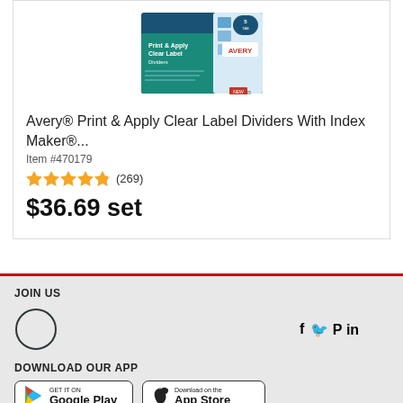[Figure (photo): Avery 5-tab Print & Apply Clear Label Dividers product packaging photo]
Avery® Print & Apply Clear Label Dividers With Index Maker®...
Item #470179
★★★★★ (269)
$36.69 set
JOIN US
[Figure (infographic): Social media icons: Facebook, Twitter, Pinterest, Instagram, YouTube, LinkedIn]
DOWNLOAD OUR APP
[Figure (infographic): Google Play and App Store download badges]